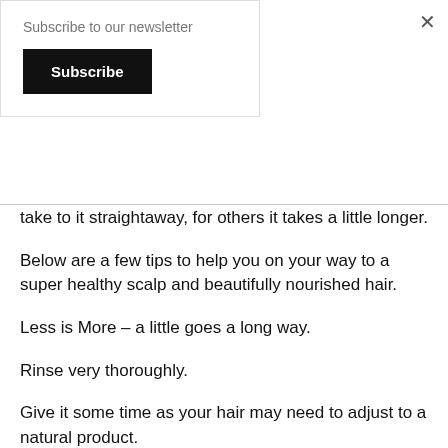Subscribe to our newsletter
Subscribe
take to it straightaway, for others it takes a little longer.
Below are a few tips to help you on your way to a super healthy scalp and beautifully nourished hair.
Less is More – a little goes a long way.
Rinse very thoroughly.
Give it some time as your hair may need to adjust to a natural product.
If you find you are struggling try and Apple Cider Vinegar (ACV) Rinse. We recommend ½ to 4 tablespoons of ACV to 8 ounces of water. –(Experiment to find a dilution that works best for your hair type (dry hair likes less ACV and